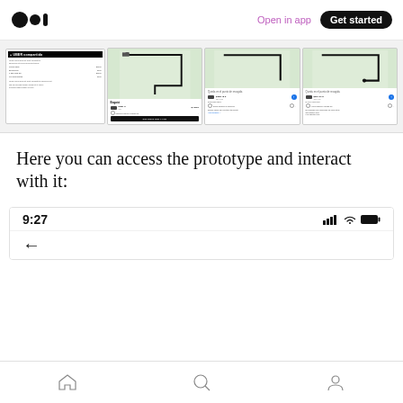Open in app | Get started
[Figure (screenshot): Row of four Uber app screenshots showing UBER compartido receipt and ride map screens]
Here you can access the prototype and interact with it:
[Figure (screenshot): Mobile prototype preview showing status bar with time 9:27 and back arrow navigation]